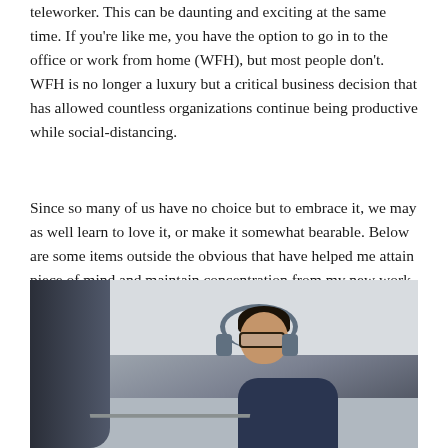teleworker. This can be daunting and exciting at the same time. If you're like me, you have the option to go in to the office or work from home (WFH), but most people don't. WFH is no longer a luxury but a critical business decision that has allowed countless organizations continue being productive while social-distancing.
Since so many of us have no choice but to embrace it, we may as well learn to love it, or make it somewhat bearable. Below are some items outside the obvious that have helped me attain piece of mind and maintain concentration from my new work-cave (or -cage).
[Figure (photo): A man wearing headphones and glasses, looking down at a laptop, working from home. He is wearing a dark blue shirt. The background shows a light grey wall.]